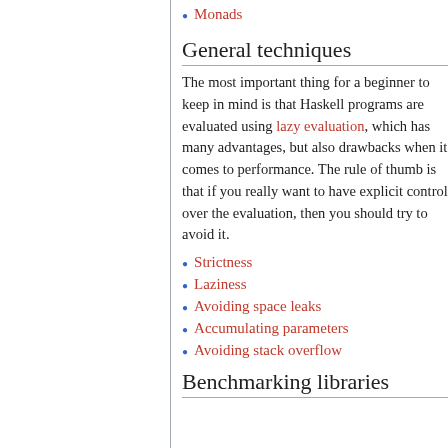Monads
General techniques
The most important thing for a beginner to keep in mind is that Haskell programs are evaluated using lazy evaluation, which has many advantages, but also drawbacks when it comes to performance. The rule of thumb is that if you really want to have explicit control over the evaluation, then you should try to avoid it.
Strictness
Laziness
Avoiding space leaks
Accumulating parameters
Avoiding stack overflow
Benchmarking libraries